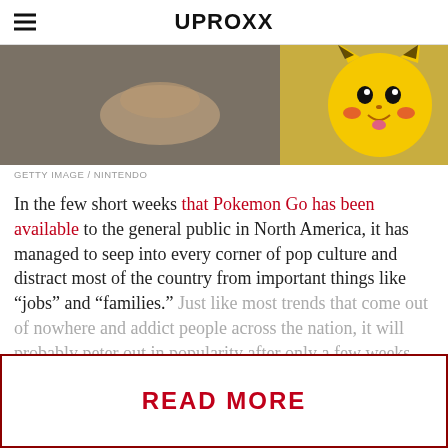UPROXX
[Figure (photo): Photo of a person with hands clasped, next to a Pikachu Pokemon graphic]
GETTY IMAGE / NINTENDO
In the few short weeks that Pokemon Go has been available to the general public in North America, it has managed to seep into every corner of pop culture and distract most of the country from important things like "jobs" and "families." Just like most trends that come out of nowhere and addict people across the nation, it will probably peter out in popularity after only a few weeks longer. Before that happens though
READ MORE